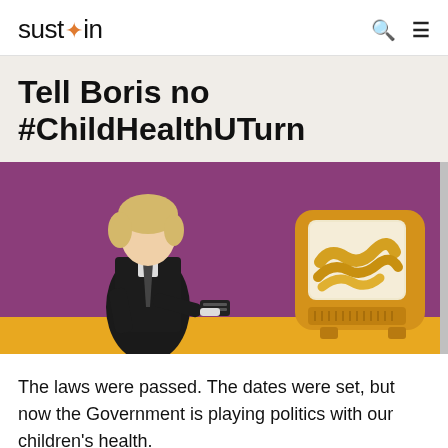sustain
Tell Boris no #ChildHealthUTurn
[Figure (photo): Promotional campaign image showing a blonde man in a dark suit holding a TV remote, standing in front of a purple/mauve background, with a retro yellow television set showing chips/fries on its screen. The floor area is golden yellow.]
The laws were passed. The dates were set, but now the Government is playing politics with our children's health.